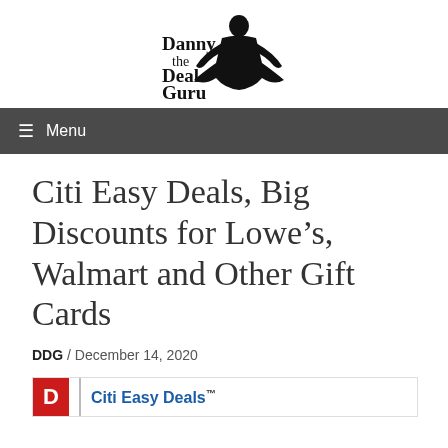Danny the Deal Guru
≡ Menu
Citi Easy Deals, Big Discounts for Lowe's, Walmart and Other Gift Cards
DDG / December 14, 2020
[Figure (other): Citi Easy Deals banner advertisement showing red D logo and Citi Easy Deals text]